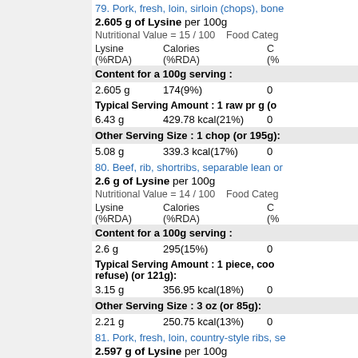79. Pork, fresh, loin, sirloin (chops), bone...
2.605 g of Lysine per 100g
Nutritional Value = 15 / 100    Food Cate...
| Lysine (%RDA) | Calories (%RDA) | C (%) |
| --- | --- | --- |
| Content for a 100g serving : |  |  |
| 2.605 g | 174(9%) | 0 |
| Typical Serving Amount : 1 raw pr g (o... |  |  |
| 6.43 g | 429.78 kcal(21%) | 0 |
| Other Serving Size : 1 chop (or 195g): |  |  |
| 5.08 g | 339.3 kcal(17%) | 0 |
80. Beef, rib, shortribs, separable lean or...
2.6 g of Lysine per 100g
Nutritional Value = 14 / 100    Food Cate...
| Lysine (%RDA) | Calories (%RDA) | C (%) |
| --- | --- | --- |
| Content for a 100g serving : |  |  |
| 2.6 g | 295(15%) | 0 |
| Typical Serving Amount : 1 piece, coo... refuse) (or 121g): |  |  |
| 3.15 g | 356.95 kcal(18%) | 0 |
| Other Serving Size : 3 oz (or 85g): |  |  |
| 2.21 g | 250.75 kcal(13%) | 0 |
81. Pork, fresh, loin, country-style ribs, se...
2.597 g of Lysine per 100g
Nutritional Value = 15 / 100    Food Cate...